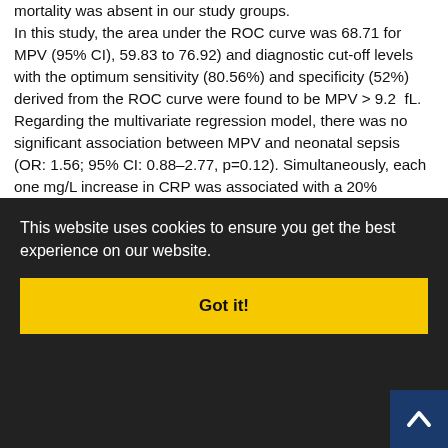mortality was absent in our study groups. In this study, the area under the ROC curve was 68.71 for MPV (95% CI), 59.83 to 76.92) and diagnostic cut-off levels with the optimum sensitivity (80.56%) and specificity (52%) derived from the ROC curve were found to be MPV > 9.2  fL. Regarding the multivariate regression model, there was no significant association between MPV and neonatal sepsis (OR: 1.56; 95% CI: 0.88–2.77, p=0.12). Simultaneously, each one mg/L increase in CRP was associated with a 20% increase in sepsis (OR: 1.20; 95% CI: 1.01–1.45, p=0.04). It seems that the prematurity complications, such as respiratory distress syndrome, intraventricular hemorrhage, bronco pulmonary dysplasia, and necrotizing enterocolitis, may trigger inflammatory and ... V. The ... sis may ... ity of ... which have ... muang et al ... lysis stud... mortality... critically ill adult patients. They concluded that regardi...
This website uses cookies to ensure you get the best experience on our website.
Got it!